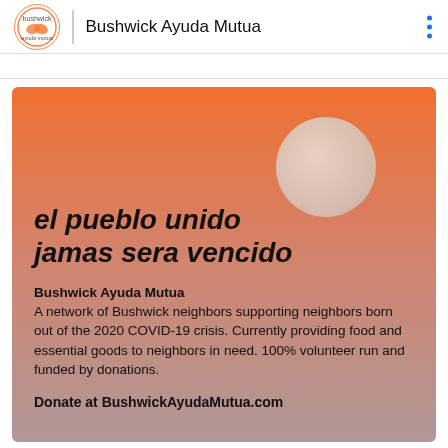Bushwick Ayuda Mutua
[Figure (illustration): Orange-to-gray gradient poster with a large pale circle (sun) in upper right. Bold italic text reads 'el pueblo unido jamas sera vencido'. Below: organization name 'Bushwick Ayuda Mutua' and description about a neighbor support network, plus donation URL.]
el pueblo unido jamas sera vencido
Bushwick Ayuda Mutua A network of Bushwick neighbors supporting neighbors born out of the 2020 COVID-19 crisis. Currently providing food and essential goods to neighbors in need. 100% volunteer run and funded by donations.
Donate at BushwickAyudaMutua.com